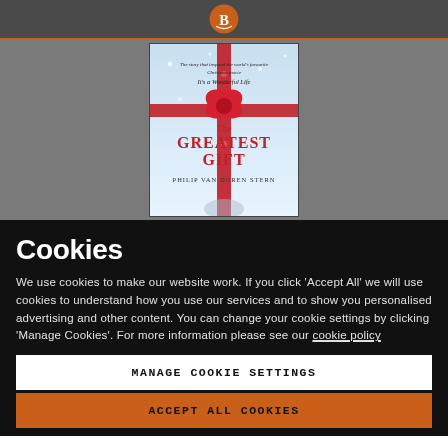[Figure (illustration): Book cover of 'The Greatest Gift' by Philip Van Doren Stern, featuring a red ribbon and bow on a winter/snowy background with text 'The story that inspired the world's favourite Christmas movie It's a Wonderful Life']
Cookies
We use cookies to make our website work. If you click 'Accept All' we will use cookies to understand how you use our services and to show you personalised advertising and other content. You can change your cookie settings by clicking 'Manage Cookies'. For more information please see our cookie policy
MANAGE COOKIE SETTINGS
ACCEPT ALL COOKIES